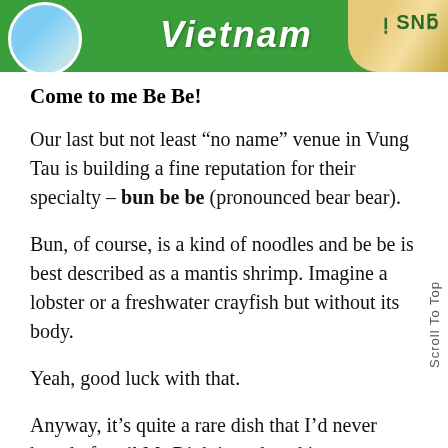[Figure (illustration): Green banner with Vietnam text in white italic bold font, a circular photo on the left side, and food imagery on the right side with partial text visible]
Come to me Be Be!
Our last but not least “no name” venue in Vung Tau is building a fine reputation for their specialty – bun be be (pronounced bear bear).
Bun, of course, is a kind of noodles and be be is best described as a mantis shrimp. Imagine a lobster or a freshwater crayfish but without its body.
Yeah, good luck with that.
Anyway, it’s quite a rare dish that I’d never heard of until Mr Dinh introduced it to me on